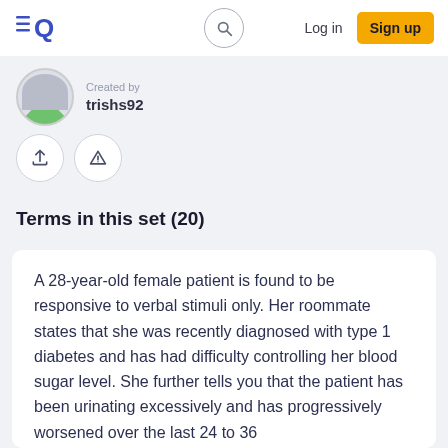Log in | Sign up
Created by
trishs92
Terms in this set (20)
A 28-year-old female patient is found to be responsive to verbal stimuli only. Her roommate states that she was recently diagnosed with type 1 diabetes and has had difficulty controlling her blood sugar level. She further tells you that the patient has been urinating excessively and has progressively worsened over the last 24 to 36